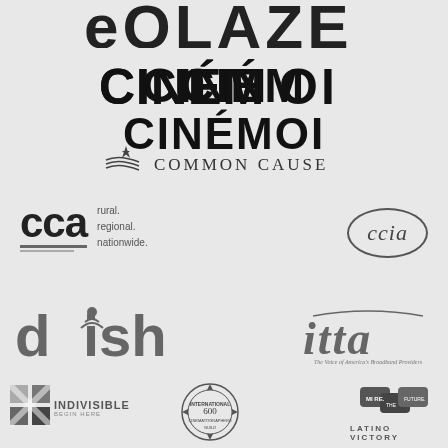[Figure (logo): Partial logo at top of page, appears to be cropped, bold capital letters]
[Figure (logo): CINEMOI logo in bold black uppercase letters with accent on E]
[Figure (logo): Common Cause logo with star/swoosh graphic and serif uppercase text]
[Figure (logo): CCA logo - rural. regional. nationwide. with bold letters and underline]
[Figure (logo): ccia logo in oval border with italic serif text]
[Figure (logo): DISH logo in bold gray letters]
[Figure (logo): itta logo - The Voice of America's Broadband Providers - italic serif text with curved line above]
[Figure (logo): Indivisible logo with X graphic and bold text, Begin Here subtitle]
[Figure (logo): International Cinematographers Guild circular seal/badge logo]
[Figure (logo): Latino Victory logo with speech bubble graphics and text]